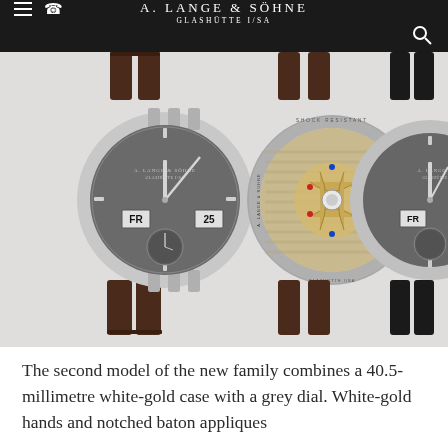A. LANGE & SÖHNE GLASHÜTTE I/SA
[Figure (photo): Three A. Lange & Söhne watches shown side by side: front view of watch with grey dial showing FR (Friday) day display and date 25, movement/caseback view showing elaborately decorated mechanical movement with gold bridges and ruby jewels, and a third watch (right) with grey dial, FR display, on dark rubber strap.]
The second model of the new family combines a 40.5-millimetre white-gold case with a grey dial. White-gold hands and notched baton appliques